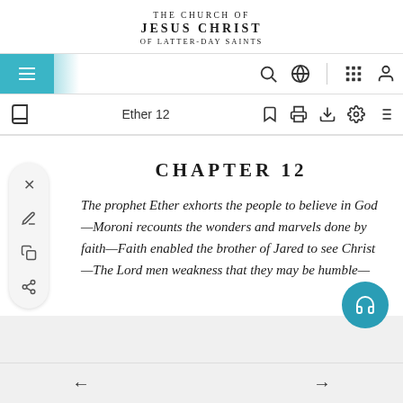THE CHURCH OF JESUS CHRIST OF LATTER-DAY SAINTS
[Figure (screenshot): Navigation bar with hamburger menu icon on teal background, search icon, globe icon, grid icon, and user icon]
Ether 12
CHAPTER 12
The prophet Ether exhorts the people to believe in God—Moroni recounts the wonders and marvels done by faith—Faith enabled the brother of Jared to see Christ—The Lord men weakness that they may be humble—